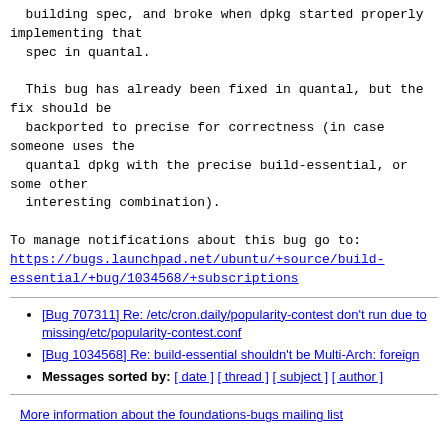building spec, and broke when dpkg started properly implementing that
  spec in quantal.

  This bug has already been fixed in quantal, but the fix should be
  backported to precise for correctness (in case someone uses the
  quantal dpkg with the precise build-essential, or some other
  interesting combination).

To manage notifications about this bug go to:
https://bugs.launchpad.net/ubuntu/+source/build-essential/+bug/1034568/+subscriptions
Previous message: [Bug 707311] Re: /etc/cron.daily/popularity-contest don't run due to missing/etc/popularity-contest.conf
Next message: [Bug 1034568] Re: build-essential shouldn't be Multi-Arch: foreign
Messages sorted by: [ date ] [ thread ] [ subject ] [ author ]
More information about the foundations-bugs mailing list